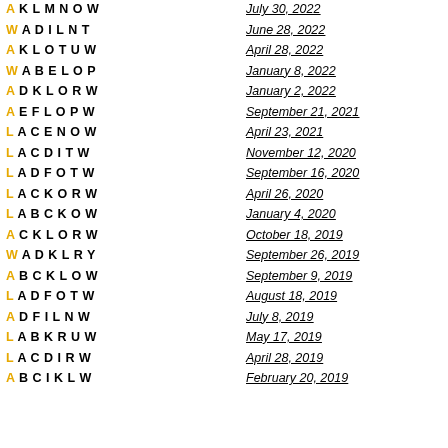A KLMNOW — July 30, 2022
W ADILNT — June 28, 2022
A KLOTUW — April 28, 2022
W ABELOP — January 8, 2022
A DKLORW — January 2, 2022
A EFLOPW — September 21, 2021
L ACENOW — April 23, 2021
L ACDITW — November 12, 2020
L ADFOTW — September 16, 2020
L ACKORW — April 26, 2020
L ABCKOW — January 4, 2020
A CKLORW — October 18, 2019
W ADKLRY — September 26, 2019
A BCKLOW — September 9, 2019
L ADFOTW — August 18, 2019
A DFILNW — July 8, 2019
L ABKRUW — May 17, 2019
L ACDIRW — April 28, 2019
A BCIKLW — February 20, 2019